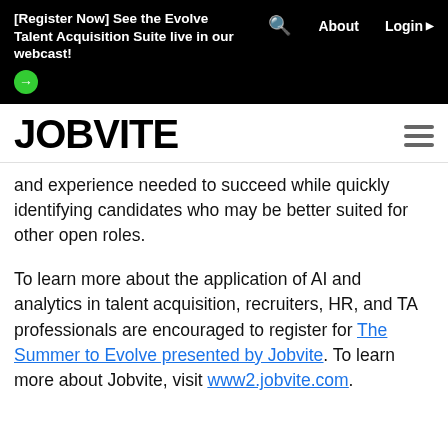[Register Now] See the Evolve Talent Acquisition Suite live in our webcast! → | 🔍 | About | Login ▶
JOBVITE
and experience needed to succeed while quickly identifying candidates who may be better suited for other open roles.
To learn more about the application of AI and analytics in talent acquisition, recruiters, HR, and TA professionals are encouraged to register for The Summer to Evolve presented by Jobvite. To learn more about Jobvite, visit www2.jobvite.com.